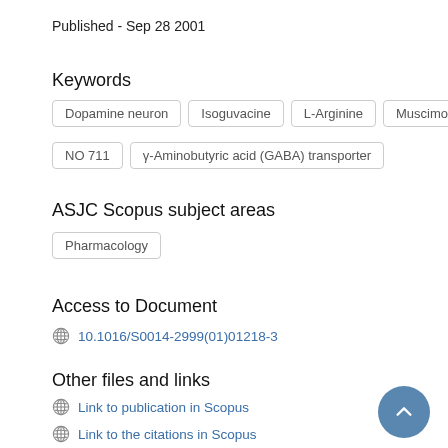Published - Sep 28 2001
Keywords
Dopamine neuron
Isoguvacine
L-Arginine
Muscimol
NO 711
γ-Aminobutyric acid (GABA) transporter
ASJC Scopus subject areas
Pharmacology
Access to Document
10.1016/S0014-2999(01)01218-3
Other files and links
Link to publication in Scopus
Link to the citations in Scopus